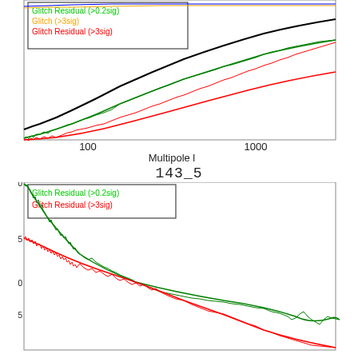[Figure (continuous-plot): Top log-log plot showing power spectra vs Multipole l. Legend shows: Glitch Residual (>0.2sig) in green, Glitch (>3sig) in orange, Glitch Residual (>3sig) in red. Three curves visible (black, green, red) rising from lower left to upper right.]
Multipole l
143_5
[Figure (continuous-plot): Bottom plot showing glitch residual power spectra vs Multipole l for detector 143_5. Legend shows: Glitch Residual (>0.2sig) in green, Glitch Residual (>3sig) in red. Green curve starts high and decreases; red curve is lower and also decreases.]